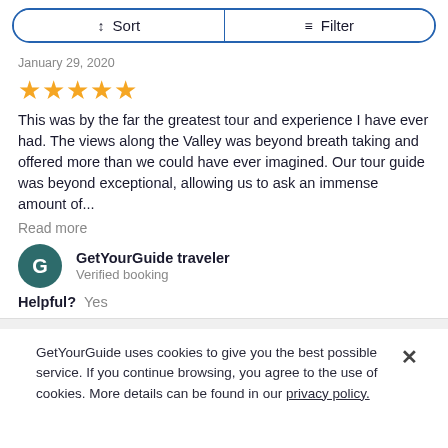↕ Sort  ≡ Filter
January 29, 2020
[Figure (other): 5 yellow star rating]
This was by the far the greatest tour and experience I have ever had. The views along the Valley was beyond breath taking and offered more than we could have ever imagined. Our tour guide was beyond exceptional, allowing us to ask an immense amount of...
Read more
GetYourGuide traveler
Verified booking
Helpful?  Yes
GetYourGuide uses cookies to give you the best possible service. If you continue browsing, you agree to the use of cookies. More details can be found in our privacy policy.